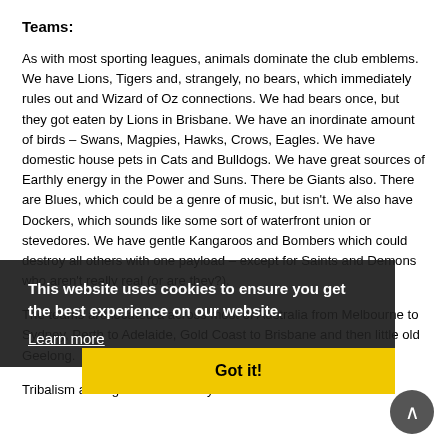Teams:
As with most sporting leagues, animals dominate the club emblems. We have Lions, Tigers and, strangely, no bears, which immediately rules out and Wizard of Oz connections. We had bears once, but they got eaten by Lions in Brisbane. We have an inordinate amount of birds – Swans, Magpies, Hawks, Crows, Eagles. We have domestic house pets in Cats and Bulldogs. We have great sources of Earthly energy in the Power and Suns. There be Giants also. There are Blues, which could be a genre of music, but isn't. We also have Dockers, which sounds like some sort of waterfront union or stevedores. We have gentle Kangaroos and Bombers which could destroy all others with one payload – except for Saints and Demons who aren't really real (or are they?).
This website uses cookies to ensure you get the best experience on our website.
Learn more
Got it!
The teams are located a across most of Australia from Melbourne to Sydney, Perth to Adelaide, Gold Coast to Brisbane and then little old Geelong.
Tribalism amongst fans is as intense as anywhere in the world. The